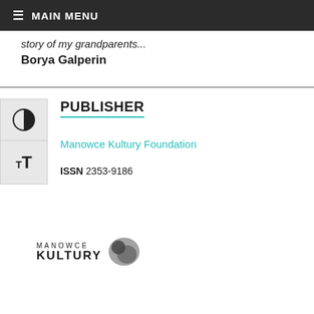≡ MAIN MENU
story of my grandparents
Borya Galperin
PUBLISHER
Manowce Kultury Foundation
ISSN 2353-9186
[Figure (logo): Manowce Kultury foundation logo with stylized dark blob graphic and text MANOWCE KULTURY]